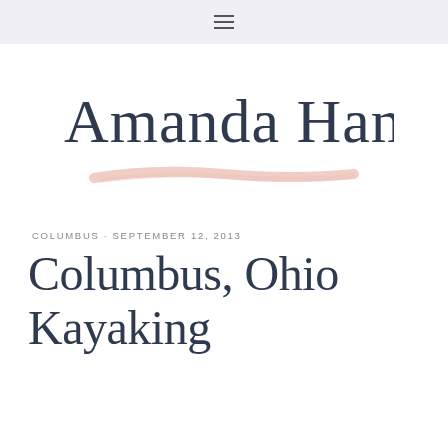≡
[Figure (logo): Amanda Hamman script/cursive logo with pink brushstroke underline]
COLUMBUS · SEPTEMBER 12, 2013
Columbus, Ohio Kayaking